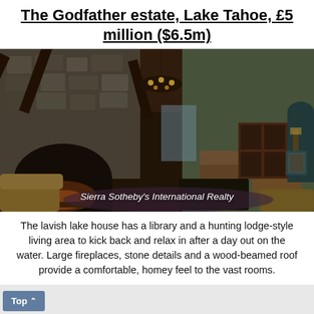The Godfather estate, Lake Tahoe, £5 million ($6.5m)
[Figure (photo): Interior photo of a lavish hunting lodge-style living room with stone fireplace, exposed wood beam ceiling, chandelier, and leather furniture. Caption reads: Sierra Sotheby's International Realty]
Sierra Sotheby's International Realty
The lavish lake house has a library and a hunting lodge-style living area to kick back and relax in after a day out on the water. Large fireplaces, stone details and a wood-beamed roof provide a comfortable, homey feel to the vast rooms.